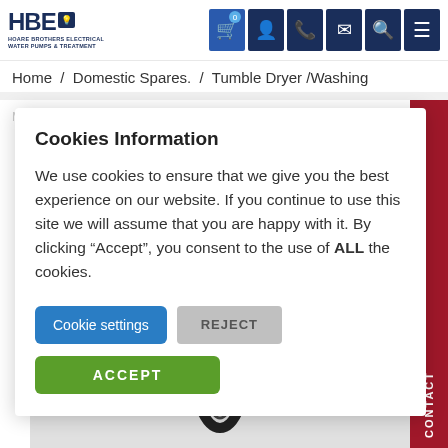HBE Hoare Brothers Electrical Water Pumps & Treatment — navigation icons
Home / Domestic Spares. / Tumble Dryer /Washing
[Figure (screenshot): Cookie consent modal overlay on an e-commerce product page. Contains title 'Cookies Information', descriptive text about cookie usage, and three buttons: 'Cookie settings' (blue), 'REJECT' (grey), 'ACCEPT' (green).]
Cookies Information
We use cookies to ensure that we give you the best experience on our website. If you continue to use this site we will assume that you are happy with it. By clicking “Accept”, you consent to the use of ALL the cookies.
Cookie settings
REJECT
ACCEPT